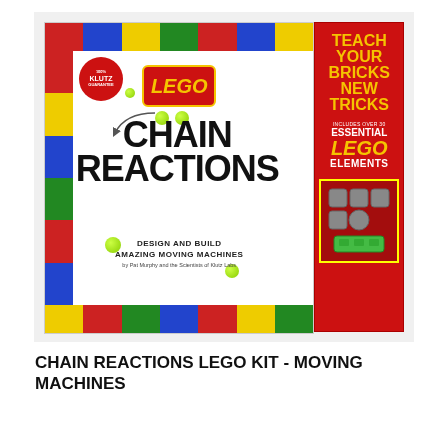[Figure (photo): Product image of LEGO Chain Reactions Kit book with red side panel. The book cover shows the LEGO logo, 'Chain Reactions' title in bold black letters, subtitle 'Design and Build Amazing Moving Machines', Klutz badge, and colorful LEGO brick border. The red side panel reads 'Teach Your Bricks New Tricks - Includes over 30 Essential LEGO Elements' with a window showing LEGO pieces.]
CHAIN REACTIONS LEGO KIT - MOVING MACHINES